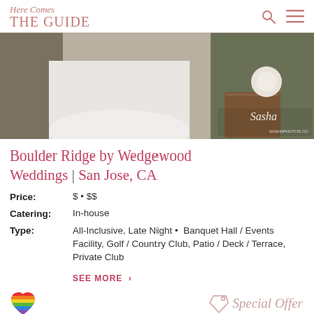Here Comes THE GUIDE
[Figure (photo): Wedding photo showing a bride in a white gown and groom at an outdoor ceremony venue, with floral decorations and wooden box, watermark 'Sasha SASHAPHOTOS.CO']
Boulder Ridge by Wedgewood Weddings | San Jose, CA
Price: $ • $$
Catering: In-house
Type: All-Inclusive, Late Night • Banquet Hall / Events Facility, Golf / Country Club, Patio / Deck / Terrace, Private Club
SEE MORE >
[Figure (illustration): Rainbow heart icon on the bottom left, and a tag icon with 'Special Offer' script text on the bottom right]